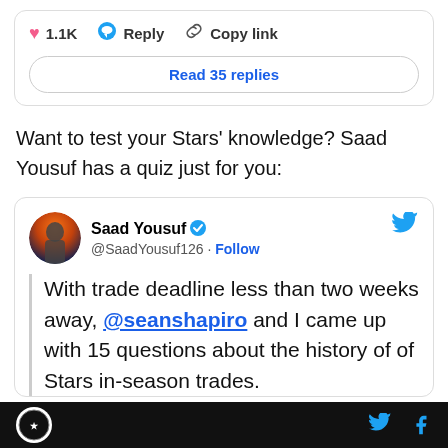[Figure (screenshot): Social media action bar with heart icon showing 1.1K likes, reply button, and copy link button, followed by a 'Read 35 replies' button]
Want to test your Stars’ knowledge? Saad Yousuf has a quiz just for you:
[Figure (screenshot): Embedded tweet from Saad Yousuf (@SaadYousuf126) with verified badge: 'With trade deadline less than two weeks away, @seanshapiro and I came up with 15 questions about the history of of Stars in-season trades.']
Stars news site footer with logo, Twitter and Facebook icons